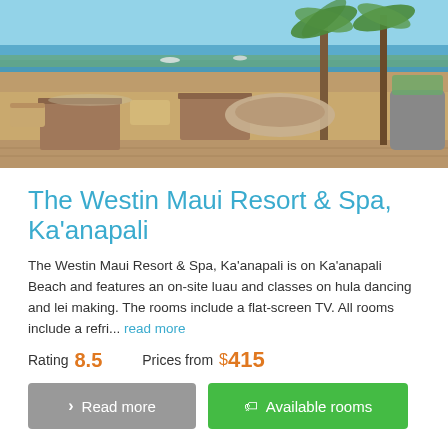[Figure (photo): Outdoor terrace/restaurant area of The Westin Maui Resort & Spa, Ka'anapali, showing lounge chairs, wooden furniture, palm trees, and ocean/beach view in background under blue sky.]
The Westin Maui Resort & Spa, Ka'anapali
The Westin Maui Resort & Spa, Ka'anapali is on Ka'anapali Beach and features an on-site luau and classes on hula dancing and lei making. The rooms include a flat-screen TV. All rooms include a refri... read more
Rating 8.5    Prices from $415
Read more   Available rooms